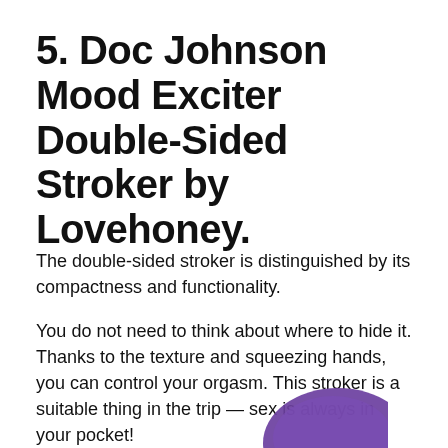5. Doc Johnson Mood Exciter Double-Sided Stroker by Lovehoney.
The double-sided stroker is distinguished by its compactness and functionality.
You do not need to think about where to hide it. Thanks to the texture and squeezing hands, you can control your orgasm. This stroker is a suitable thing in the trip — sex is always in your pocket!
[Figure (illustration): Partial view of a purple/violet rounded object visible at the bottom right of the page]